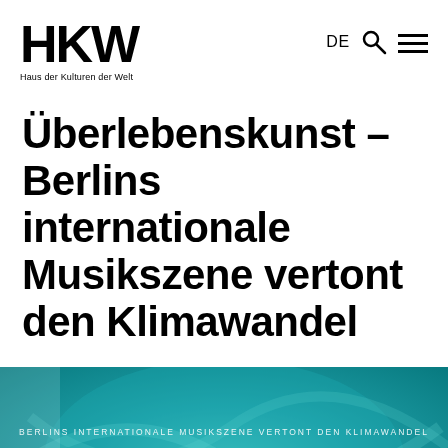HKW Haus der Kulturen der Welt  DE
Überlebenskunst – Berlins internationale Musikszene vertont den Klimawandel
[Figure (illustration): Book/album cover with teal/turquoise abstract wave background. Text reads: 'BERLINS INTERNATIONALE MUSIKSZENE VERTONT DEN KLIMAWANDEL' (small caps subtitle) and 'ÜBERLEBENSKUNST' (large white text).]